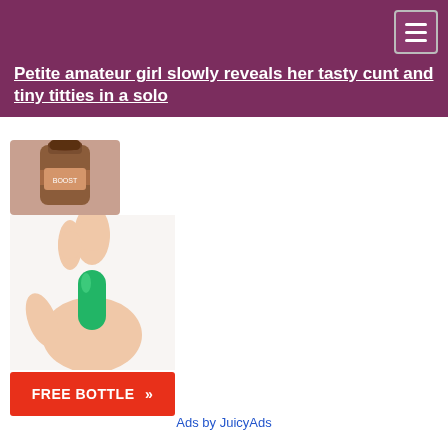Petite amateur girl slowly reveals her tasty cunt and tiny titties in a solo
[Figure (photo): Advertisement image showing a hand holding a green pill capsule with a supplement bottle above, and a red 'FREE BOTTLE >>' button below]
Ads by JuicyAds